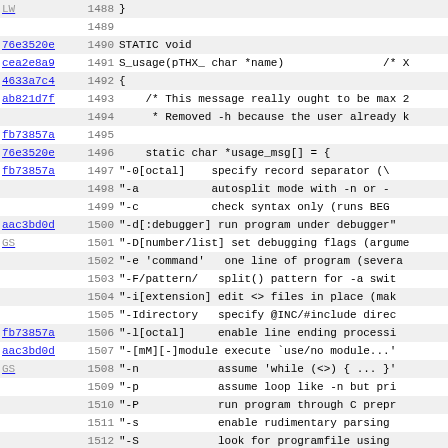Source code listing lines 1488-1519, showing S_usage function definition with usage message array initialization for Perl command-line options.